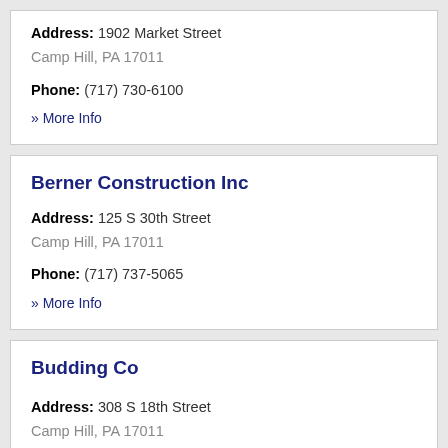Address: 1902 Market Street
Camp Hill, PA 17011
Phone: (717) 730-6100
» More Info
Berner Construction Inc
Address: 125 S 30th Street
Camp Hill, PA 17011
Phone: (717) 737-5065
» More Info
Budding Co
Address: 308 S 18th Street
Camp Hill, PA 17011